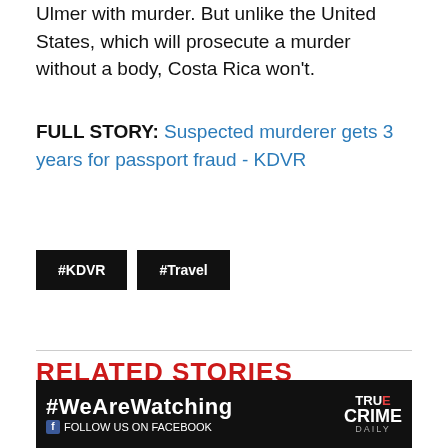Ulmer with murder. But unlike the United States, which will prosecute a murder without a body, Costa Rica won't.
FULL STORY: Suspected murderer gets 3 years for passport fraud - KDVR
#KDVR
#Travel
RELATED STORIES
[Figure (photo): Photo of a man and woman at a beach or outdoor location]
Lost in paradise: Intrigue at a tropical surf retreat
[Figure (infographic): Advertisement banner: #WeAreWatching - FOLLOW US ON FACEBOOK - True Crime Daily]